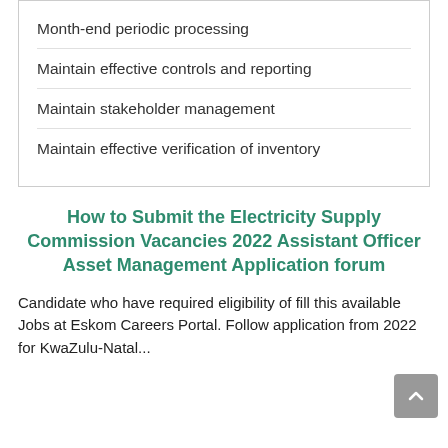Month-end periodic processing
Maintain effective controls and reporting
Maintain stakeholder management
Maintain effective verification of inventory
How to Submit the Electricity Supply Commission Vacancies 2022 Assistant Officer Asset Management Application forum
Candidate who have required eligibility of fill this available Jobs at Eskom Careers Portal. Follow application from 2022 for KwaZulu-Natal...